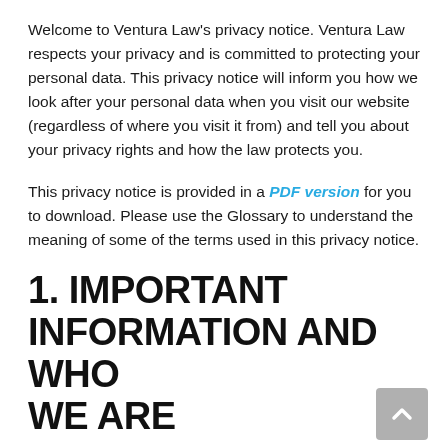Welcome to Ventura Law's privacy notice. Ventura Law respects your privacy and is committed to protecting your personal data. This privacy notice will inform you how we look after your personal data when you visit our website (regardless of where you visit it from) and tell you about your privacy rights and how the law protects you.
This privacy notice is provided in a PDF version for you to download. Please use the Glossary to understand the meaning of some of the terms used in this privacy notice.
1. IMPORTANT INFORMATION AND WHO WE ARE
PURPOSE OF THIS PRIVACY